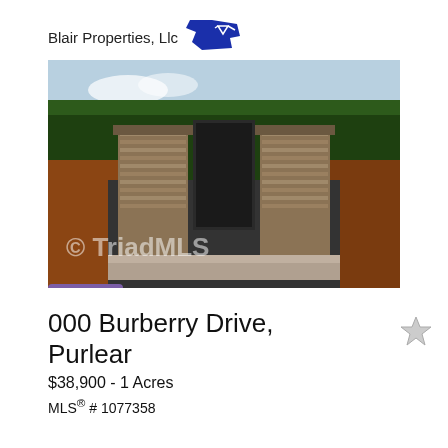Blair Properties, Llc
[Figure (photo): Exterior photo of a brick subdivision entrance monument sign with trees in the background, watermarked with © TriadMLS]
New Listing
000 Burberry Drive, Purlear
$38,900 - 1 Acres
MLS® # 1077358